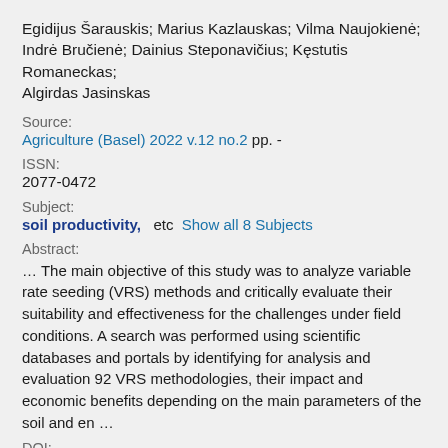Egidijus Šarauskis; Marius Kazlauskas; Vilma Naujokienė; Indrė Bručienė; Dainius Steponavičius; Kęstutis Romaneckas; Algirdas Jasinskas
Source:
Agriculture (Basel) 2022 v.12 no.2 pp. -
ISSN:
2077-0472
Subject:
soil productivity,   etc  Show all 8 Subjects
Abstract:
… The main objective of this study was to analyze variable rate seeding (VRS) methods and critically evaluate their suitability and effectiveness for the challenges under field conditions. A search was performed using scientific databases and portals by identifying for analysis and evaluation 92 VRS methodologies, their impact and economic benefits depending on the main parameters of the soil and en …
DOI: